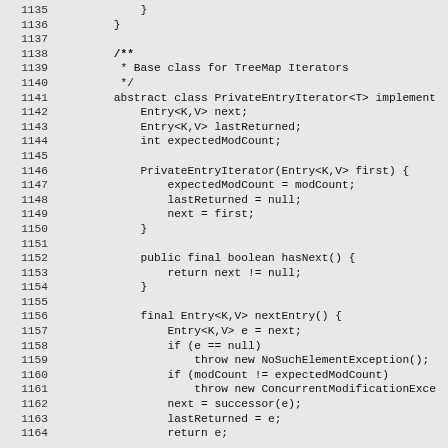1135-1164: Java source code showing PrivateEntryIterator class for TreeMap iterators